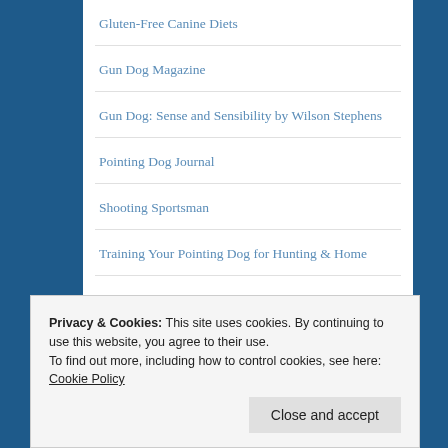Gluten-Free Canine Diets
Gun Dog Magazine
Gun Dog: Sense and Sensibility by Wilson Stephens
Pointing Dog Journal
Shooting Sportsman
Training Your Pointing Dog for Hunting & Home
Upland Almanac
Training
Privacy & Cookies: This site uses cookies. By continuing to use this website, you agree to their use.
To find out more, including how to control cookies, see here: Cookie Policy
Dog Psychology: The Basis of Dog Training, Leon F.